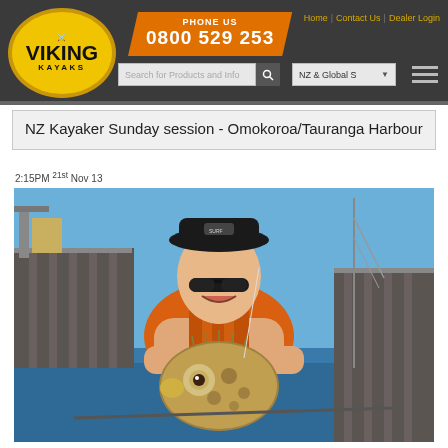Viking Kayaks | PHONE US 0800 529 253 | Home | Contact Us | Dealer Login
NZ Kayaker Sunday session - Omokoroa/Tauranga Harbour
2:15PM 21st Nov 13
[Figure (photo): Person in a kayak on the water near a pier, smiling and holding up a puffer fish. Wearing a black cap, sunglasses, and an orange life vest. Blue sky and sailboat mast visible in background.]